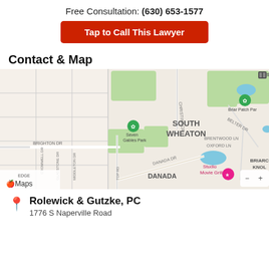Free Consultation: (630) 653-1577
Tap to Call This Lawyer
Contact & Map
[Figure (map): Apple Maps screenshot showing South Wheaton, IL area with streets including Brighton Dr, Danada Dr, Christina Cr, Belter Dr, Brentwood Ln, Oxford Ln, Cromwell Dr, Gladstone Dr, Middleton Dr. Parks visible: Seven Gables Park, Briar Patch Park. Area labels: South Wheaton, Danada, Briarwood Knoll. Point of interest: Studio Movie Grill. Map controls (zoom in/out) visible. Apple Maps logo bottom left.]
Rolewick & Gutzke, PC
1776 S Naperville Road